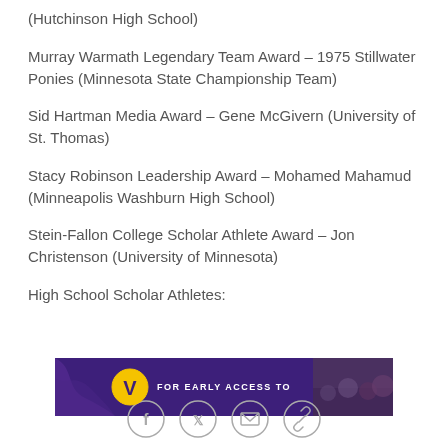(Hutchinson High School)
Murray Warmath Legendary Team Award – 1975 Stillwater Ponies (Minnesota State Championship Team)
Sid Hartman Media Award – Gene McGivern (University of St. Thomas)
Stacy Robinson Leadership Award – Mohamed Mahamud (Minneapolis Washburn High School)
Stein-Fallon College Scholar Athlete Award – Jon Christenson (University of Minnesota)
High School Scholar Athletes:
[Figure (photo): Minnesota Vikings advertisement banner with purple background, team logo, and text 'FOR EARLY ACCESS TO' with crowd photo on right]
[Figure (other): Social media sharing icons row: Facebook, Twitter, email, and link icons in gray circles]